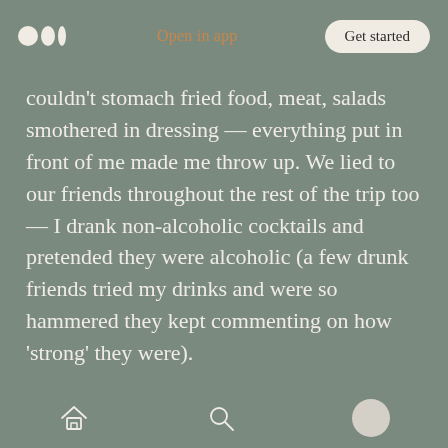Medium logo | Open in app | Get started
couldn't stomach fried food, meat, salads smothered in dressing — everything put in front of me made me throw up. We lied to our friends throughout the rest of the trip too — I drank non-alcoholic cocktails and pretended they were alcoholic (a few drunk friends tried my drinks and were so hammered they kept commenting on how 'strong' they were).
In the back of my mind I knew that I had been drinking and partying in Las Vegas for the last week and when we arrived back in London I booked an early private scan to ensure the baby…
Home | Search | Profile